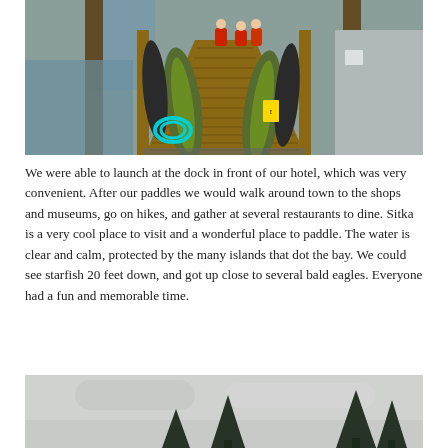[Figure (photo): Kayaks lined up on a wooden dock ramp leading down to water. Green and black kayaks are visible, along with a turquoise hose coiled on the dock and a yellow caution sign. People in red jackets are visible at the top of the ramp. Wooden dock structure and water visible in background.]
We were able to launch at the dock in front of our hotel, which was very convenient. After our paddles we would walk around town to the shops and museums, go on hikes, and gather at several restaurants to dine. Sitka is a very cool place to visit and a wonderful place to paddle. The water is clear and calm, protected by the many islands that dot the bay. We could see starfish 20 feet down, and got up close to several bald eagles. Everyone had a fun and memorable time.
[Figure (photo): Partial view of a grey overcast sky with dark evergreen/spruce trees visible at the bottom of the frame, suggesting a coastal or forested landscape.]